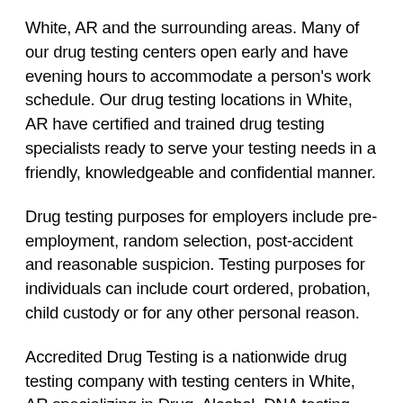White, AR and the surrounding areas. Many of our drug testing centers open early and have evening hours to accommodate a person's work schedule. Our drug testing locations in White, AR have certified and trained drug testing specialists ready to serve your testing needs in a friendly, knowledgeable and confidential manner.
Drug testing purposes for employers include pre-employment, random selection, post-accident and reasonable suspicion. Testing purposes for individuals can include court ordered, probation, child custody or for any other personal reason.
Accredited Drug Testing is a nationwide drug testing company with testing centers in White, AR specializing in Drug, Alcohol, DNA testing, DOT Physicals and Background Checks.
ANYWHERE, ANYTIME!